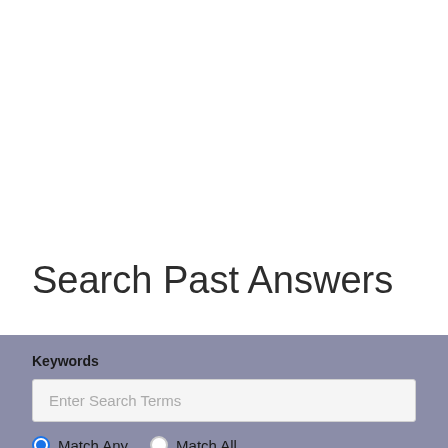Search Past Answers
Keywords
Enter Search Terms
Match Any   Match All
Country